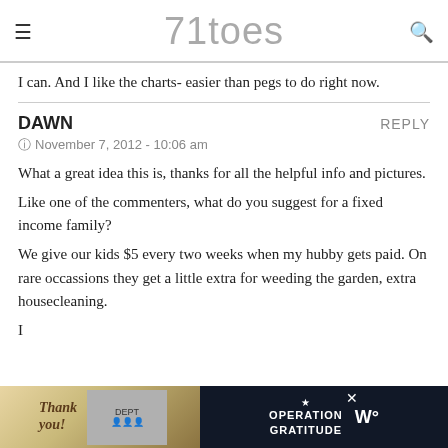71toes
I can. And I like the charts- easier than pegs to do right now.
DAWN
November 7, 2012 - 10:06 am
What a great idea this is, thanks for all the helpful info and pictures.
Like one of the commenters, what do you suggest for a fixed income family?
We give our kids $5 every two weeks when my hubby gets paid. On rare occassions they get a little extra for weeding the garden, extra housecleaning.
[Figure (other): Advertisement banner showing 'Thank you!' text with Operation Gratitude advertisement]